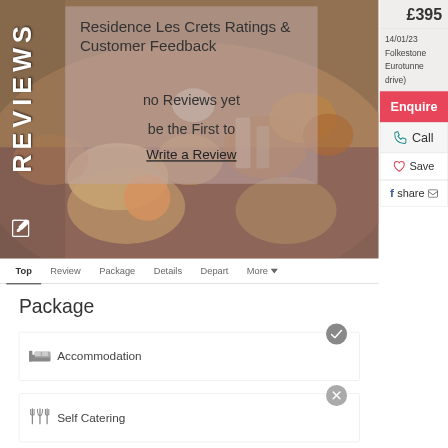[Figure (photo): Background photo of a breakfast table with bowls, cups, pastries and fruit in warm tones]
Residence Les Crets Ratings & Customer Feedback
no Reviews yet
be the First to
Write a Review
£395
14/01/23 Folkestone Eurotunnel drive)
Enquire
Call
Save
share
REVIEWS
Top  Review  Package  Details  Depart  More
Package
Accommodation
Self Catering